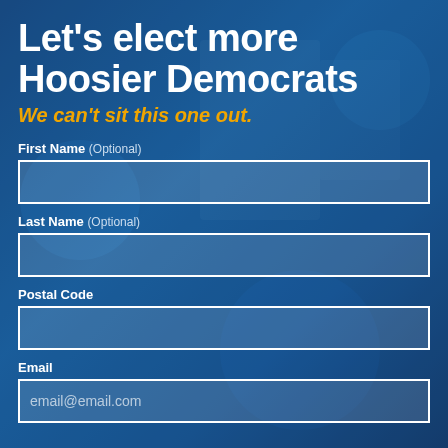Let's elect more Hoosier Democrats
We can't sit this one out.
First Name (Optional)
Last Name (Optional)
Postal Code
Email
email@email.com